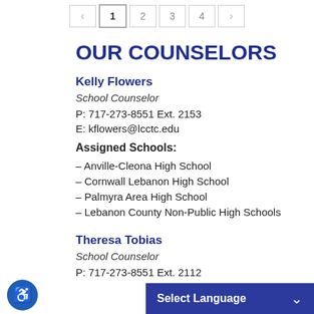← 1 2 3 4 →
OUR COUNSELORS
Kelly Flowers
School Counselor
P: 717-273-8551 Ext. 2153
E: kflowers@lcctc.edu
Assigned Schools:
– Anville-Cleona High School
– Cornwall Lebanon High School
– Palmyra Area High School
– Lebanon County Non-Public High Schools
Theresa Tobias
School Counselor
P: 717-273-8551 Ext. 2112